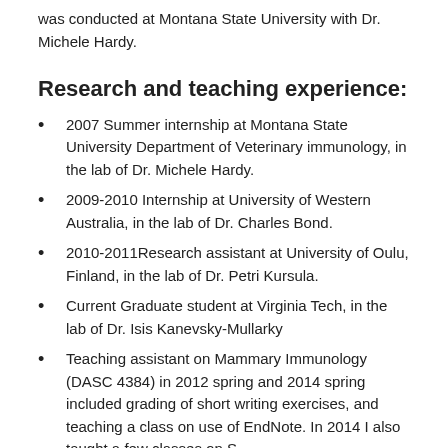was conducted at Montana State University with Dr. Michele Hardy.
Research and teaching experience:
2007 Summer internship at Montana State University Department of Veterinary immunology, in the lab of Dr. Michele Hardy.
2009-2010 Internship at University of Western Australia, in the lab of Dr. Charles Bond.
2010-2011Research assistant at University of Oulu, Finland, in the lab of Dr. Petri Kursula.
Current Graduate student at Virginia Tech, in the lab of Dr. Isis Kanevsky-Mullarky
Teaching assistant on Mammary Immunology (DASC 4384) in 2012 spring and 2014 spring included grading of short writing exercises, and teaching a class on use of EndNote. In 2014 I also taught a few classes on S